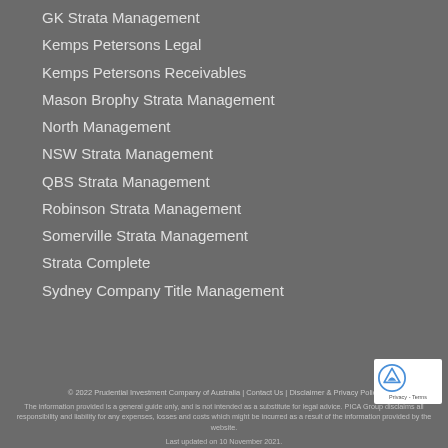GK Strata Management
Kemps Petersons Legal
Kemps Petersons Receivables
Mason Brophy Strata Management
North Management
NSW Strata Management
QBS Strata Management
Robinson Strata Management
Somerville Strata Management
Strata Complete
Sydney Company Title Management
© 2022 Prudential Investment Company of Australia | Contact Us | Disclaimer & Privacy Policy

The information provided is a general guide only, and is not intended as a substitute for legal advice. PICA Group disclaims all responsibility and liability for any expenses, losses and costs which might be incurred as a result of the information provided by the website.

Last updated on 10 November 2021.